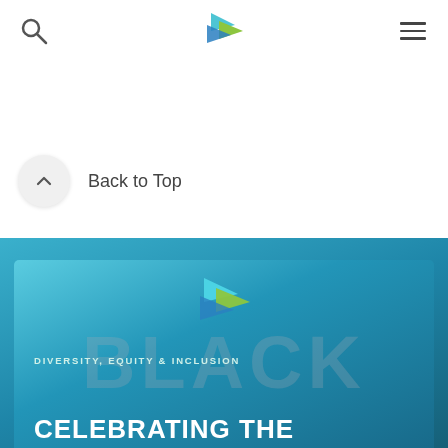[Figure (logo): Navigation bar with search icon, company logo (arrow triangles in teal, blue, green), and hamburger menu icon]
Back to Top
[Figure (illustration): Blue gradient banner with company logo arrows and text: DIVERSITY, EQUITY & INCLUSION above CELEBRATING THE BLACK (partial, with large watermark letters BLA K behind)]